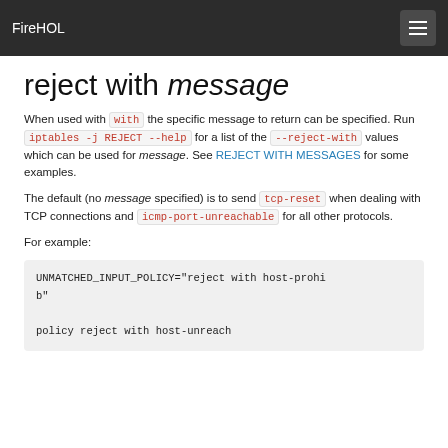FireHOL
reject with message
When used with `with` the specific message to return can be specified. Run `iptables -j REJECT --help` for a list of the `--reject-with` values which can be used for message. See REJECT WITH MESSAGES for some examples.
The default (no message specified) is to send `tcp-reset` when dealing with TCP connections and `icmp-port-unreachable` for all other protocols.
For example:
UNMATCHED_INPUT_POLICY="reject with host-prohib"

policy reject with host-unreach